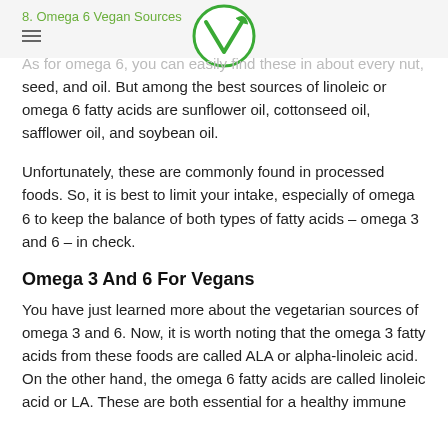8. Omega 6 Vegan Sources
[Figure (logo): Vegan logo: green circle with a stylized V and leaf inside]
As for omega 6, you can easily find these in about every nut, seed, and oil. But among the best sources of linoleic or omega 6 fatty acids are sunflower oil, cottonseed oil, safflower oil, and soybean oil.
Unfortunately, these are commonly found in processed foods. So, it is best to limit your intake, especially of omega 6 to keep the balance of both types of fatty acids – omega 3 and 6 – in check.
Omega 3 And 6 For Vegans
You have just learned more about the vegetarian sources of omega 3 and 6. Now, it is worth noting that the omega 3 fatty acids from these foods are called ALA or alpha-linoleic acid. On the other hand, the omega 6 fatty acids are called linoleic acid or LA. These are both essential for a healthy immune